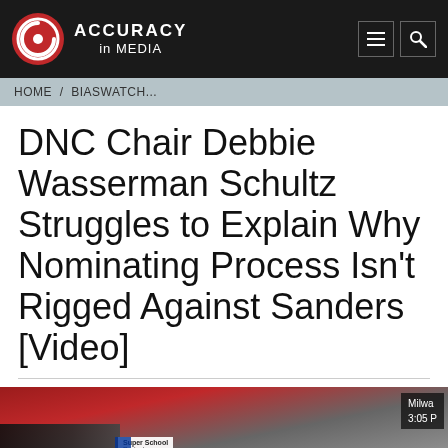ACCURACY in MEDIA
HOME / BIASWATCH...
DNC Chair Debbie Wasserman Schultz Struggles to Explain Why Nominating Process Isn't Rigged Against Sanders [Video]
[Figure (screenshot): Video thumbnail showing a TV broadcast. Overlay boxes read 'Milwa' and '3:05 P' and 'DEBATES'. A caption box reads 'Super School Project'.]